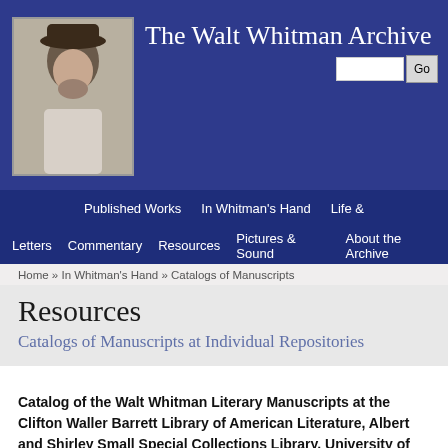The Walt Whitman Archive
Published Works  In Whitman's Hand  Life &  Letters  Commentary  Resources  Pictures & Sound  About the Archive
Home » In Whitman's Hand » Catalogs of Manuscripts
Resources
Catalogs of Manuscripts at Individual Repositories
Catalog of the Walt Whitman Literary Manuscripts at the Clifton Waller Barrett Library of American Literature, Albert and Shirley Small Special Collections Library, University of Virginia
Original records created by the Albert and Shirley Small